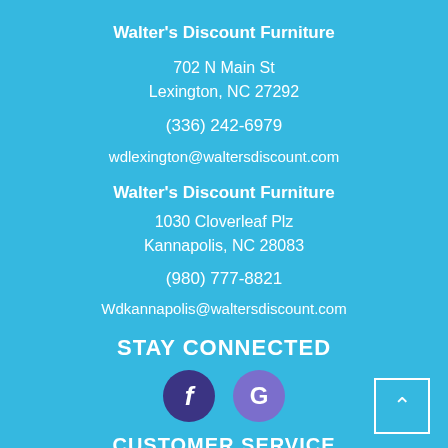Walter's Discount Furniture
702 N Main St
Lexington, NC 27292
(336) 242-6979
wdlexington@waltersdiscount.com
Walter's Discount Furniture
1030 Cloverleaf Plz
Kannapolis, NC 28083
(980) 777-8821
Wdkannapolis@waltersdiscount.com
STAY CONNECTED
[Figure (other): Social media icons: Facebook (f) and Google (G) circular buttons]
CUSTOMER SERVICE
Contact Us
My Account